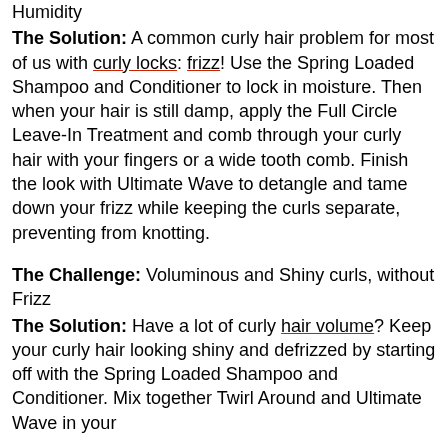Humidity
The Solution: A common curly hair problem for most of us with curly locks: frizz! Use the Spring Loaded Shampoo and Conditioner to lock in moisture. Then when your hair is still damp, apply the Full Circle Leave-In Treatment and comb through your curly hair with your fingers or a wide tooth comb. Finish the look with Ultimate Wave to detangle and tame down your frizz while keeping the curls separate, preventing from knotting.
The Challenge: Voluminous and Shiny curls, without Frizz
The Solution: Have a lot of curly hair volume? Keep your curly hair looking shiny and defrizzed by starting off with the Spring Loaded Shampoo and Conditioner. Mix together Twirl Around and Ultimate Wave in your